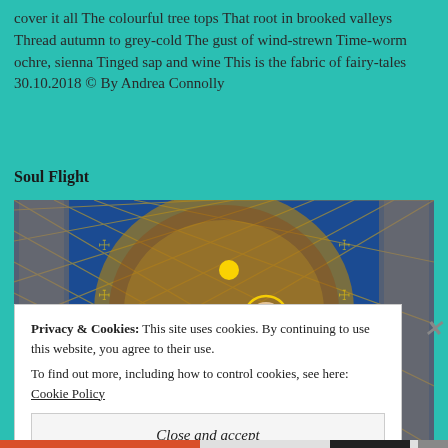cover it all The colourful tree tops That root in brooked valleys Thread autumn to grey-cold The gust of wind-strewn Time-worm ochre, sienna Tinged sap and wine This is the fabric of fairy-tales 30.10.2018 © By Andrea Connolly
Soul Flight
[Figure (photo): Religious mosaic or decorative artwork depicting the coronation of the Virgin Mary by Jesus Christ, with ornate blue and gold patterned background, angels, and religious figures, photographed inside a church or cathedral.]
Privacy & Cookies: This site uses cookies. By continuing to use this website, you agree to their use. To find out more, including how to control cookies, see here: Cookie Policy
Close and accept